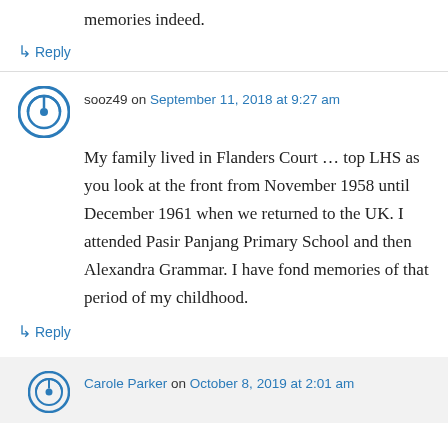memories indeed.
↳ Reply
sooz49 on September 11, 2018 at 9:27 am
My family lived in Flanders Court … top LHS as you look at the front from November 1958 until December 1961 when we returned to the UK. I attended Pasir Panjang Primary School and then Alexandra Grammar. I have fond memories of that period of my childhood.
↳ Reply
Carole Parker on October 8, 2019 at 2:01 am